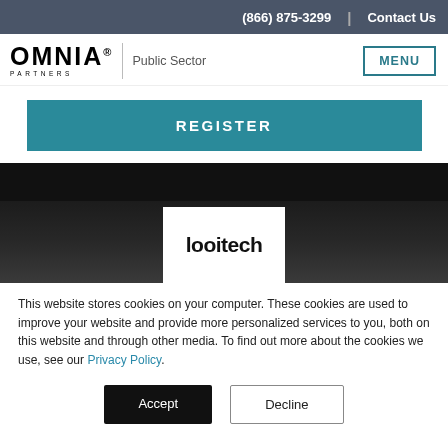(866) 875-3299  |  Contact Us
[Figure (logo): OMNIA PARTNERS Public Sector logo with MENU button]
REGISTER
[Figure (logo): Logitech logo on dark metallic background]
This website stores cookies on your computer. These cookies are used to improve your website and provide more personalized services to you, both on this website and through other media. To find out more about the cookies we use, see our Privacy Policy.
Accept   Decline